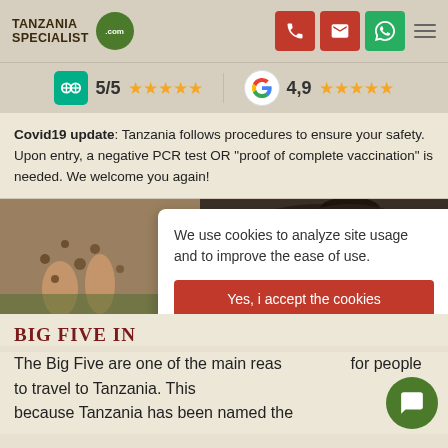[Figure (logo): Tanzania Specialist .com logo with green circle]
Covid19 update: Tanzania follows procedures to ensure your safety. Upon entry, a negative PCR test OR "proof of complete vaccination" is needed. We welcome you again!
[Figure (photo): Close-up photo of Big Five animals - leopard and buffalo legs]
We use cookies to analyze site usage and to improve the ease of use.
Yes, i accept the cookies
BIG FIVE IN TANZANIA
The Big Five are one of the main reasons for people to travel to Tanzania. This is because Tanzania has been named the